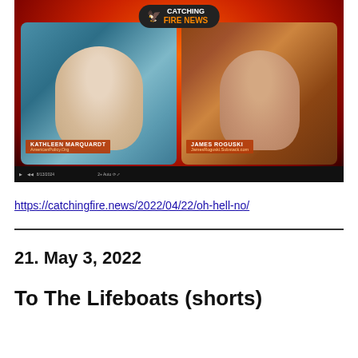[Figure (screenshot): Video screenshot from Catching Fire News showing two video call participants: Kathleen Marquardt (AmericanPolicy.Org) on the left and James Roguski (JamesRoguski.Substack.com) on the right, with a fiery background and the Catching Fire News logo at the top.]
https://catchingfire.news/2022/04/22/oh-hell-no/
21. May 3, 2022
To The Lifeboats (shorts)